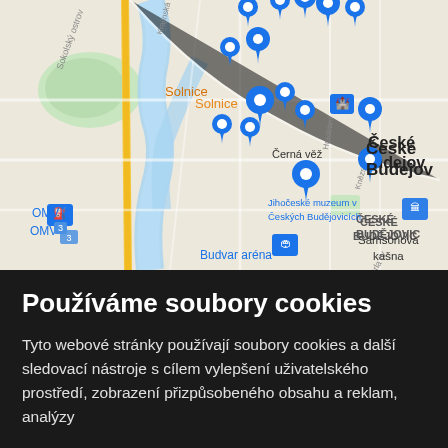[Figure (map): A Google Maps screenshot showing České Budějovice area with multiple blue location pins marking various points of interest. Visible landmarks include Solnice, Samsonova kašna, Jihočeské muzeum v Českých Budějovicích, Budvar aréna, OMV gas station, and text labels 'České Budejov' and 'ČESKÉ BUDĚJOVIC'. A river runs through the map. Roads include a yellow highlighted road on the left. A Černá věž (Black Tower) marker with a castle icon is visible.]
Používáme soubory cookies
Tyto webové stránky používají soubory cookies a další sledovací nástroje s cílem vylepšení uživatelského prostředí, zobrazení přizpůsobeného obsahu a reklam, analýzy